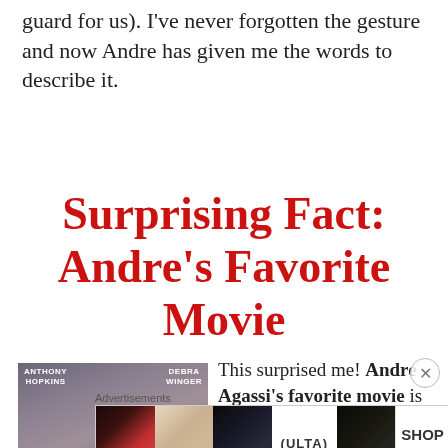guard for us). I've never forgotten the gesture and now Andre has given me the words to describe it.
Surprising Fact: Andre's Favorite Movie
[Figure (photo): Movie poster for Shadowlands featuring Anthony Hopkins and Debra Winger]
This surprised me! Andre Agassi's favorite movie is Shadowlands: the true love
Advertisements
[Figure (photo): ULTA beauty advertisement banner with makeup imagery and SHOP NOW call to action]